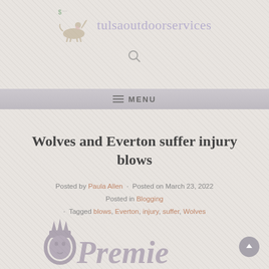[Figure (logo): Tulsa Outdoor Services website header with horse and rider logo on left and site name 'tulsaoutdoorservices' in purple serif font on right]
[Figure (other): Search icon (magnifying glass)]
MENU
Wolves and Everton suffer injury blows
Posted by Paula Allen · Posted on March 23, 2022 Posted in Blogging · Tagged blows, Everton, injury, suffer, Wolves
[Figure (logo): Partial Premier League logo visible at bottom of page — lion crown icon on left and stylized 'Premier' text beginning to appear]